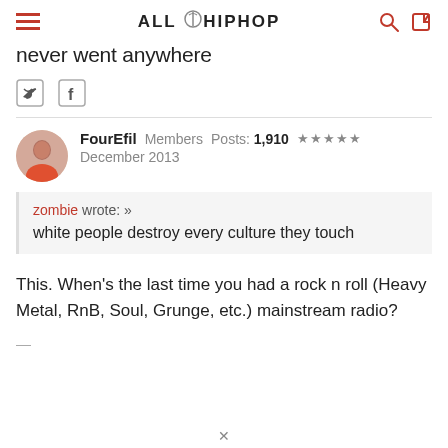ALL HIPHOP
never went anywhere
[Figure (other): Twitter and Facebook social share icons]
FourEfil  Members  Posts: 1,910  ★★★★★  December 2013
zombie wrote: »
white people destroy every culture they touch
This. When's the last time you had a rock n roll (Heavy Metal, RnB, Soul, Grunge, etc.) mainstream radio?